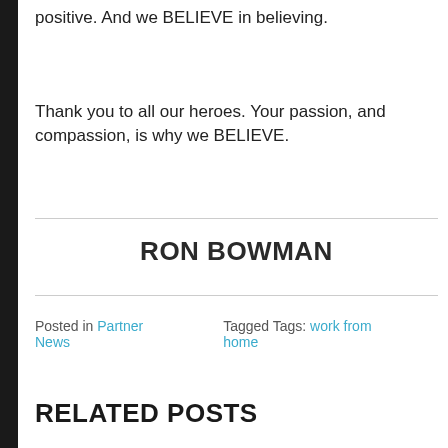positive. And we BELIEVE in believing.
Thank you to all our heroes. Your passion, and compassion, is why we BELIEVE.
RON BOWMAN
Posted in Partner News   Tagged Tags: work from home
RELATED POSTS